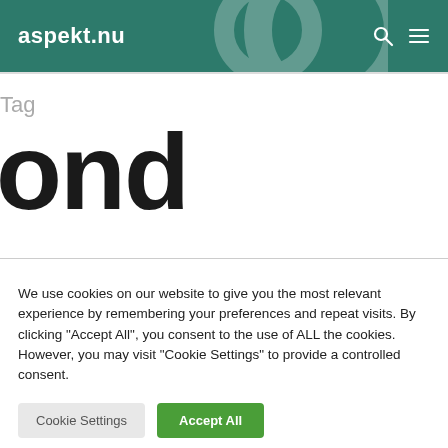aspekt.nu
Tag
ond
We use cookies on our website to give you the most relevant experience by remembering your preferences and repeat visits. By clicking “Accept All”, you consent to the use of ALL the cookies. However, you may visit "Cookie Settings" to provide a controlled consent.